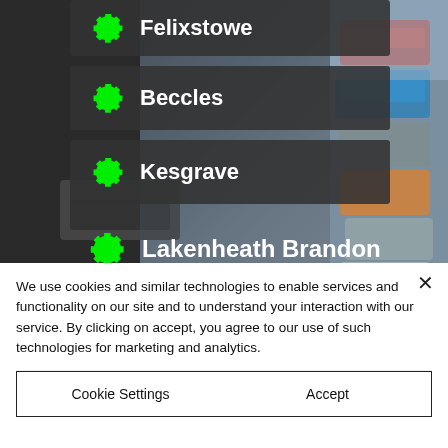[Figure (screenshot): Background photo of stacked/crushed cars in a junkyard/scrapyard]
Felixstowe
Beccles
Kesgrave
Lakenheath Brandon
Assinaton
We use cookies and similar technologies to enable services and functionality on our site and to understand your interaction with our service. By clicking on accept, you agree to our use of such technologies for marketing and analytics.
Cookie Settings
Accept